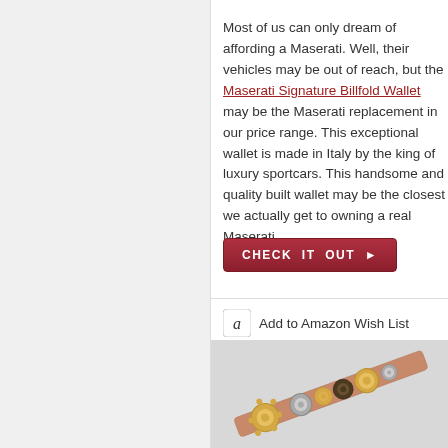Most of us can only dream of affording a Maserati. Well, their vehicles may be out of reach, but the Maserati Signature Billfold Wallet may be the Maserati replacement in our price range. This exceptional wallet is made in Italy by the king of luxury sportcars. This handsome and quality built wallet may be the closest we actually get to owning a real Maserati.
[Figure (other): CHECK IT OUT button in dark red/crimson color with arrow symbol]
Add to Amazon Wish List
[Figure (photo): Close-up photo of a steampunk-style gear tie bar/money clip with gold and silver gears on a metallic base, on a light gray background]